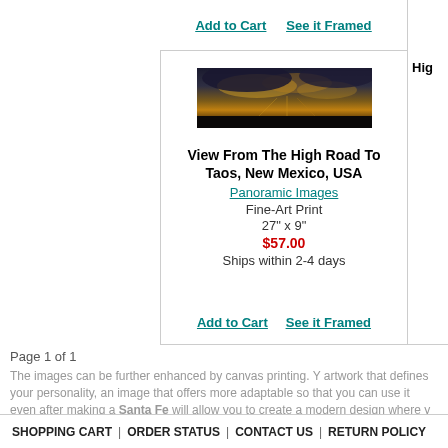Add to Cart   See it Framed
[Figure (photo): Panoramic landscape photo of View From The High Road To Taos, New Mexico — dramatic dark storm clouds with orange-golden light breaking through, silhouetted dark foreground.]
View From The High Road To Taos, New Mexico, USA
Panoramic Images
Fine-Art Print
27" x 9"
$57.00
Ships within 2-4 days
Add to Cart   See it Framed
Hig
Page 1 of 1
The images can be further enhanced by canvas printing. Y artwork that defines your personality, an image that offers more adaptable so that you can use it even after making a Santa Fe will allow you to create a modern design where y and texture. If by any chance you have difficulty choosing a customers. You can also ask our design experts to offer yo
SHOPPING CART | ORDER STATUS | CONTACT US | RETURN POLICY